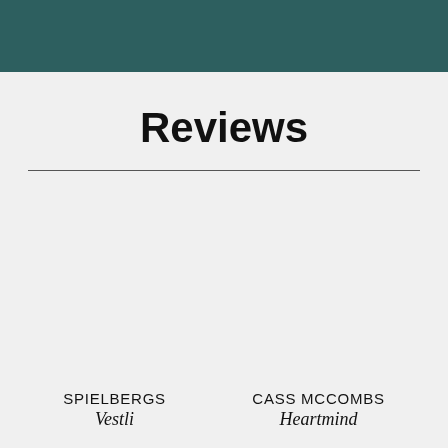Reviews
SPIELBERGS
Vestli
CASS MCCOMBS
Heartmind